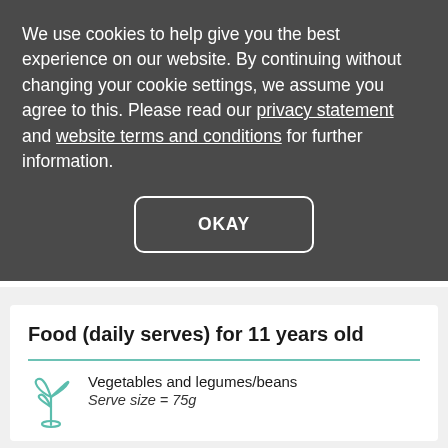We use cookies to help give you the best experience on our website. By continuing without changing your cookie settings, we assume you agree to this. Please read our privacy statement and website terms and conditions for further information.
OKAY
Food (daily serves) for 11 years old
Vegetables and legumes/beans
Serve size = 75g